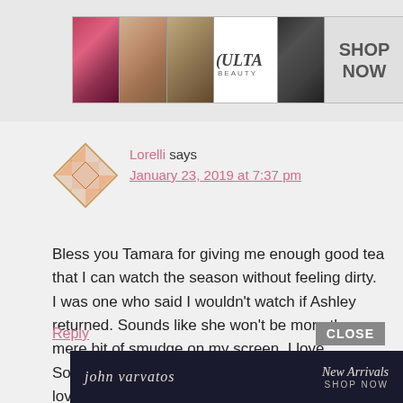[Figure (illustration): Ulta Beauty advertisement banner with makeup images: lips with lipstick, makeup brush, eye with makeup, Ulta logo, smoky eye, and SHOP NOW button]
Lorelli says
January 23, 2019 at 7:37 pm
Bless you Tamara for giving me enough good tea that I can watch the season without feeling dirty. I was one who said I wouldn't watch if Ashley returned. Sounds like she won't be more than a mere bit of smudge on my screen. I love Southern Charm for the focus of the city I fell in love with when I visited as a child and where I hope to retire. Can't wait for the season to start!
Reply
[Figure (illustration): John Varvatos advertisement with dark fashion photography and text 'john varvatos New Arrivals SHOP NOW']